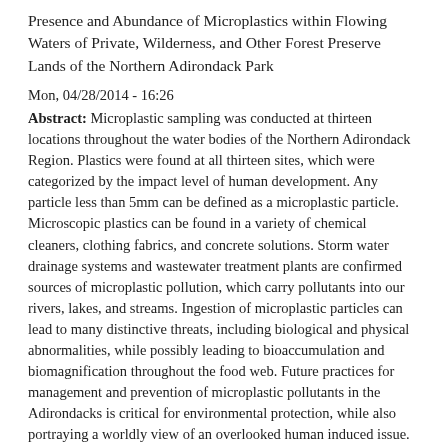Presence and Abundance of Microplastics within Flowing Waters of Private, Wilderness, and Other Forest Preserve Lands of the Northern Adirondack Park
Mon, 04/28/2014 - 16:26
Abstract: Microplastic sampling was conducted at thirteen locations throughout the water bodies of the Northern Adirondack Region. Plastics were found at all thirteen sites, which were categorized by the impact level of human development. Any particle less than 5mm can be defined as a microplastic particle. Microscopic plastics can be found in a variety of chemical cleaners, clothing fabrics, and concrete solutions. Storm water drainage systems and wastewater treatment plants are confirmed sources of microplastic pollution, which carry pollutants into our rivers, lakes, and streams. Ingestion of microplastic particles can lead to many distinctive threats, including biological and physical abnormalities, while possibly leading to bioaccumulation and biomagnification throughout the food web. Future practices for management and prevention of microplastic pollutants in the Adirondacks is critical for environmental protection, while also portraying a worldly view of an overlooked human induced issue.
Access: Yes
Literary Rights: Off